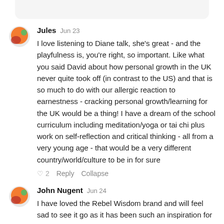Jules  Jun 23
I love listening to Diane talk, she's great - and the playfulness is, you're right, so important. Like what you said David about how personal growth in the UK never quite took off (in contrast to the US) and that is so much to do with our allergic reaction to earnestness - cracking personal growth/learning for the UK would be a thing! I have a dream of the school curriculum including meditation/yoga or tai chi plus work on self-reflection and critical thinking - all from a very young age - that would be a very different country/world/culture to be in for sure
♡ 2   Reply   Collapse
John Nugent  Jun 24
I have loved the Rebel Wisdom brand and will feel sad to see it go as it has been such an inspiration for the